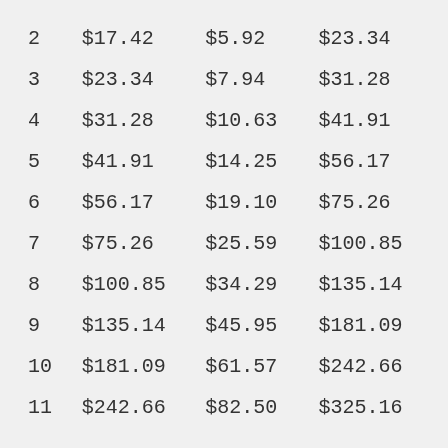| 2 | $17.42 | $5.92 | $23.34 |
| 3 | $23.34 | $7.94 | $31.28 |
| 4 | $31.28 | $10.63 | $41.91 |
| 5 | $41.91 | $14.25 | $56.17 |
| 6 | $56.17 | $19.10 | $75.26 |
| 7 | $75.26 | $25.59 | $100.85 |
| 8 | $100.85 | $34.29 | $135.14 |
| 9 | $135.14 | $45.95 | $181.09 |
| 10 | $181.09 | $61.57 | $242.66 |
| 11 | $242.66 | $82.50 | $325.16 |